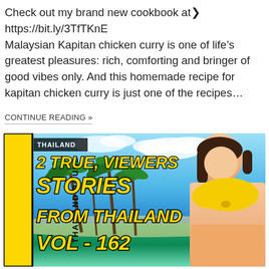Check out my brand new cookbook at» https://bit.ly/3TfTKnE
Malaysian Kapitan chicken curry is one of life’s greatest pleasures: rich, comforting and bringer of good vibes only. And this homemade recipe for kapitan chicken curry is just one of the recipes…
CONTINUE READING »
[Figure (photo): Thumbnail image for a YouTube video titled '2 True, Viewers Stories From Thailand Vol - 162' from the channel 'Thailand Bound'. Shows bold yellow italic text on a tropical beach background with palm trees, with a young woman in a yellow bikini on the right side.]